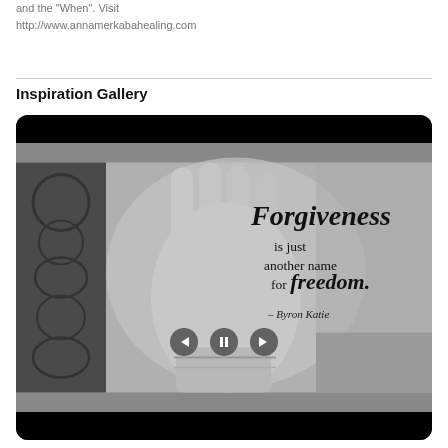and the "When". Visit
http://www.annamerkabahealing.com
Inspiration Gallery
[Figure (photo): A black-and-white photograph showing an open hand with decorated fingernails and arm, overlaid with cursive and serif text reading: 'Forgiveness is just another name for freedom. – Byron Katie'. A slideshow control bar with previous, pause, and next buttons is visible at the bottom of the image.]